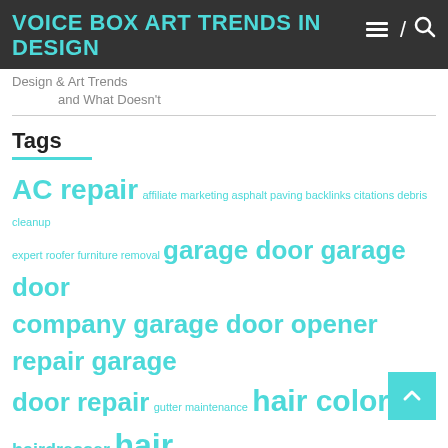VOICE BOX ART TRENDS IN DESIGN
Design & Art Trends
and What Doesn't
Tags
AC repair affiliate marketing asphalt paving backlinks citations debris cleanup expert roofer furniture removal garage door garage door company garage door opener repair garage door repair gutter maintenance hair color haircut hairdresser hair salon hairstylist hair treatment heat and air heating air heating and cooling hvac hvac services investment junk removal kitchen remodelling mortgage new door